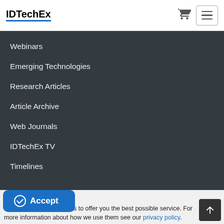IDTechEx
Webinars
Emerging Technologies
Research Articles
Article Archive
Web Journals
IDTechEx TV
Timelines
Accept
This website uses cookies to offer you the best possible service. For more information about how we use them see our privacy policy.